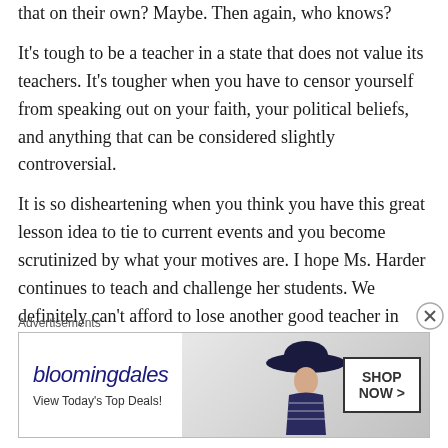that on their own? Maybe. Then again, who knows?

It's tough to be a teacher in a state that does not value its teachers. It's tougher when you have to censor yourself from speaking out on your faith, your political beliefs, and anything that can be considered slightly controversial.

It is so disheartening when you think you have this great lesson idea to tie to current events and you become scrutinized by what your motives are. I hope Ms. Harder continues to teach and challenge her students. We definitely can't afford to lose another good teacher in NC.
Advertisements
[Figure (other): Bloomingdale's advertisement banner showing logo, 'View Today's Top Deals!' tagline, a woman wearing a large floppy hat, and a 'SHOP NOW >' button.]